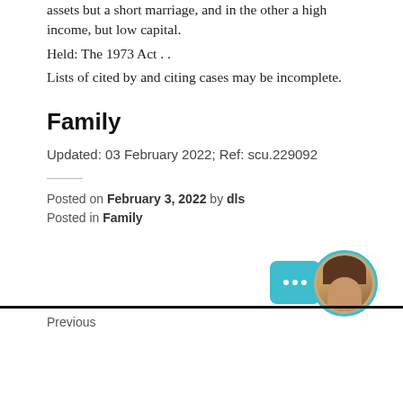assets but a short marriage, and in the other a high income, but low capital.
Held: The 1973 Act . .
Lists of cited by and citing cases may be incomplete.
Family
Updated: 03 February 2022; Ref: scu.229092
Posted on February 3, 2022 by dls
Posted in Family
Previous